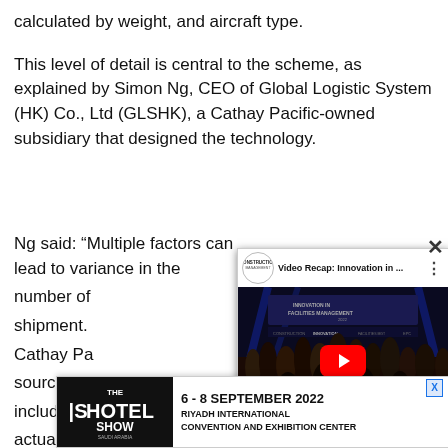calculated by weight, and aircraft type.
This level of detail is central to the scheme, as explained by Simon Ng, CEO of Global Logistic System (HK) Co., Ltd (GLSHK), a Cathay Pacific-owned subsidiary that designed the technology.
Ng said: “Multiple factors can lead to variance in the number of shipment. Cathay Pa sources to including the actual flying the offs”
[Figure (screenshot): YouTube video popup showing 'Video Recap: Innovation in ...' with a Construction Management channel logo and crowd photo thumbnail with red play button]
[Figure (screenshot): Advertisement banner for The Hotel Show Saudi Arabia, 6-8 September 2022, Riyadh International Convention and Exhibition Center]